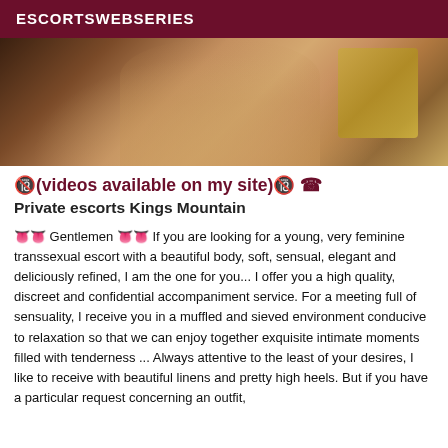ESCORTSWEBSERIES
[Figure (photo): Photo of a woman sitting on a floor, showing legs, wearing a floral outfit, with a woven basket visible in the background on a wooden floor.]
🔞(videos available on my site)🔞 ☎ Private escorts Kings Mountain
👅👅 Gentlemen 👅👅 If you are looking for a young, very feminine transsexual escort with a beautiful body, soft, sensual, elegant and deliciously refined, I am the one for you... I offer you a high quality, discreet and confidential accompaniment service. For a meeting full of sensuality, I receive you in a muffled and sieved environment conducive to relaxation so that we can enjoy together exquisite intimate moments filled with tenderness ... Always attentive to the least of your desires, I like to receive with beautiful linens and pretty high heels. But if you have a particular request concerning an outfit,